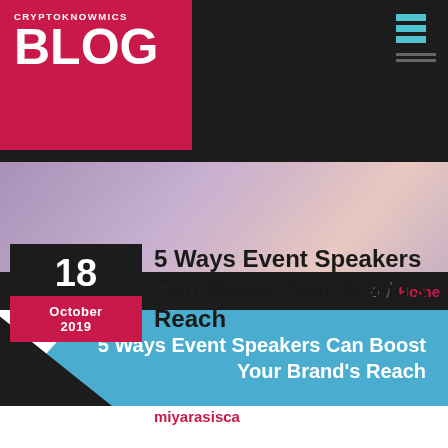CRYPTOKNOWMICS BLOG
[Figure (illustration): Gradient purple/pink/lavender banner image]
Home
5 Ways Event Speakers Can Boost Your Brand's Reach
5 Ways Event Speakers Can Boost Your Brand's Reach
18 October 2019
miyarasisca